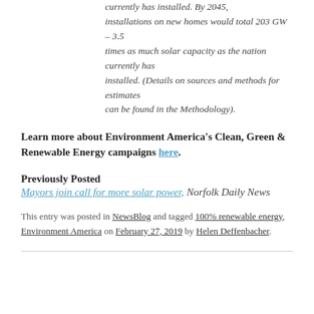currently has installed. By 2045, installations on new homes would total 203 GW – 3.5 times as much solar capacity as the nation currently has installed. (Details on sources and methods for estimates can be found in the Methodology).
Learn more about Environment America's Clean, Green & Renewable Energy campaigns here.
Previously Posted
Mayors join call for more solar power, Norfolk Daily News
This entry was posted in NewsBlog and tagged 100% renewable energy, Environment America on February 27, 2019 by Helen Deffenbacher.